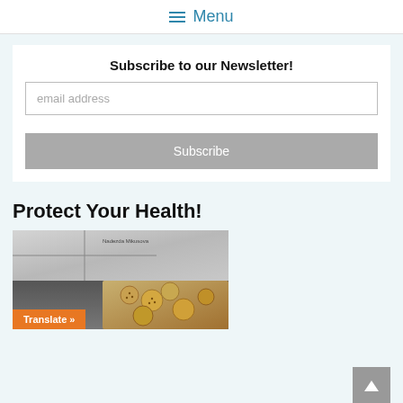≡ Menu
Subscribe to our Newsletter!
email address
Subscribe
Protect Your Health!
[Figure (photo): Book cover photo showing a book by Nadezda Mikusova with a cross and bread/cookie images]
Translate »